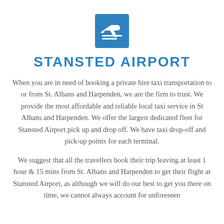[Figure (logo): Blue square icon with white airplane taking off and two horizontal lines beneath it — Stansted Airport logo]
STANSTED AIRPORT
When you are in need of booking a private hire taxi transportation to or from St. Albans and Harpenden, we are the firm to trust. We provide the most affordable and reliable local taxi service in St Albans and Harpenden. We offer the largest dedicated fleet for Stansted Airport pick up and drop off. We have taxi drop-off and pick-up points for each terminal.
We suggest that all the travellers book their trip leaving at least 1 hour & 15 mins from St. Albans and Harpenden to get their flight at Stansted Airport, as although we will do our best to get you there on time, we cannot always account for unforeseen